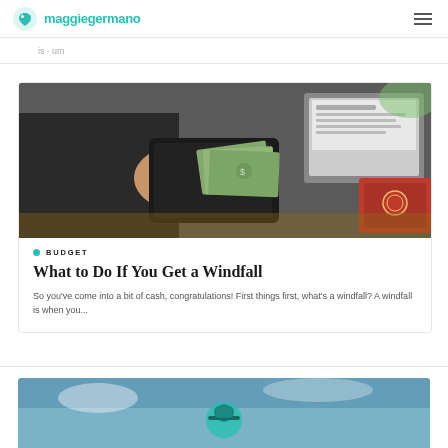maggiegermano
is · um
[Figure (photo): A person holding open a black wallet with cash/dollar bills, with a laptop and a red book/passport visible in the background on a wooden surface.]
BUDGET
What to Do If You Get a Windfall
So you've come into a bit of cash, congratulations! First things first, what's a windfall? A windfall is when you...
[Figure (photo): Partial view of a second article image visible at the bottom — appears to be a person outdoors against a blue sky.]